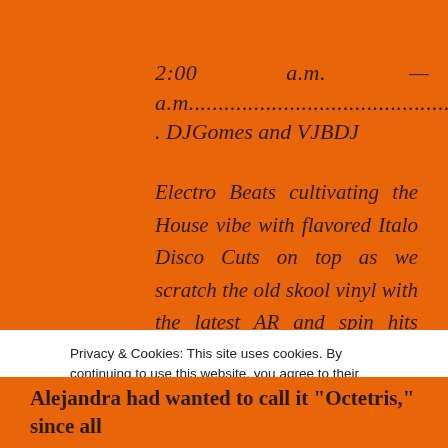2:00   a.m.   —   4:00 a.m.......................................................................... . DJGomes and VJBDJ
Electro Beats cultivating the House vibe with flavored Italo Disco Cuts on top as we scratch the old skool vinyl with the latest AR and spin hits from the last 75 years of American, Euro, Latin, and Asian pop, rock, dance, disco, EDM, and anything else you can think of. Come with your
Privacy & Cookies: This site uses cookies. By continuing to use this website, you agree to their use. To find out more, including how to control cookies, see here: Cookie Policy
Close and accept
Alejandra had wanted to call it "Octetris," since all